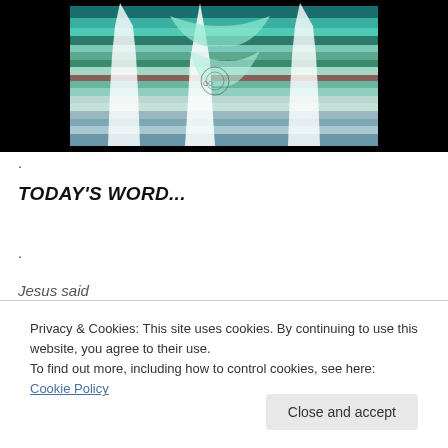[Figure (photo): Colorful quilt art on black background showing a silhouette shape (possibly a human figure or animal) made of teal, green, blue, and purple fabric strips, with white cutout hand shapes overlaid.]
.
TODAY'S WORD...
.
Jesus said
Privacy & Cookies: This site uses cookies. By continuing to use this website, you agree to their use.
To find out more, including how to control cookies, see here: Cookie Policy